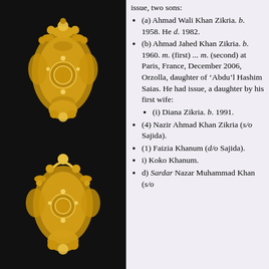[Figure (photo): Two golden ornamental jewelry pieces (floral/heraldic brooches or decorative clasps) on a black background, stacked vertically on the left side of the page.]
issue, two sons:
(a) Ahmad Wali Khan Zikria. b. 1958. He d. 1982.
(b) Ahmad Jahed Khan Zikria. b. 1960. m. (first) ... m. (second) at Paris, France, December 2006, Orzolla, daughter of ‘Abdu’l Hashim Saias. He had issue, a daughter by his first wife:
(i) Diana Zikria. b. 1991.
(4) Nazir Ahmad Khan Zikria (s/o Sajida).
(1) Faizia Khanum (d/o Sajida).
i) Koko Khanum.
d) Sardar Nazar Muhammad Khan (s/o